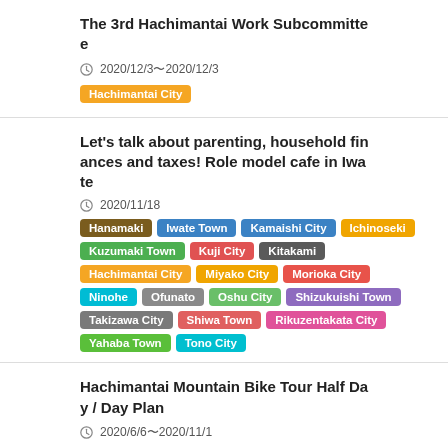The 3rd Hachimantai Work Subcommittee
2020/12/3〜2020/12/3
Hachimantai City
Let's talk about parenting, household finances and taxes! Role model cafe in Iwate
2020/11/18
Hanamaki, Iwate Town, Kamaishi City, Ichinoseki, Kuzumaki Town, Kuji City, Kitakami, Hachimantai City, Miyako City, Morioka City, Ninohe, Ofunato, Oshu City, Shizukuishi Town, Takizawa City, Shiwa Town, Rikuzentakata City, Yahaba Town, Tono City
Hachimantai Mountain Bike Tour Half Day / Day Plan
2020/6/6〜2020/11/1